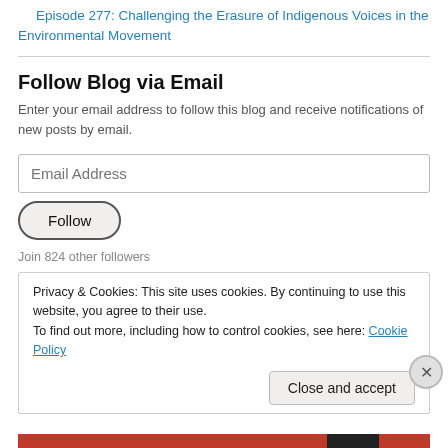Episode 277: Challenging the Erasure of Indigenous Voices in the Environmental Movement
Follow Blog via Email
Enter your email address to follow this blog and receive notifications of new posts by email.
Email Address
Follow
Join 824 other followers
Privacy & Cookies: This site uses cookies. By continuing to use this website, you agree to their use.
To find out more, including how to control cookies, see here: Cookie Policy
Close and accept